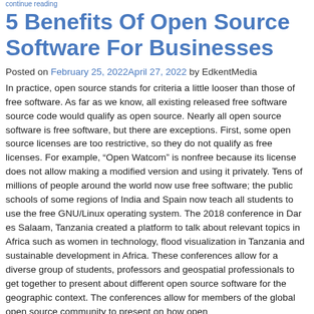continue reading
5 Benefits Of Open Source Software For Businesses
Posted on February 25, 2022April 27, 2022 by EdkentMedia
In practice, open source stands for criteria a little looser than those of free software. As far as we know, all existing released free software source code would qualify as open source. Nearly all open source software is free software, but there are exceptions. First, some open source licenses are too restrictive, so they do not qualify as free licenses. For example, “Open Watcom” is nonfree because its license does not allow making a modified version and using it privately. Tens of millions of people around the world now use free software; the public schools of some regions of India and Spain now teach all students to use the free GNU/Linux operating system. The 2018 conference in Dar es Salaam, Tanzania created a platform to talk about relevant topics in Africa such as women in technology, flood visualization in Tanzania and sustainable development in Africa. These conferences allow for a diverse group of students, professors and geospatial professionals to get together to present about different open source software for the geographic context. The conferences allow for members of the global open source community to present on how open